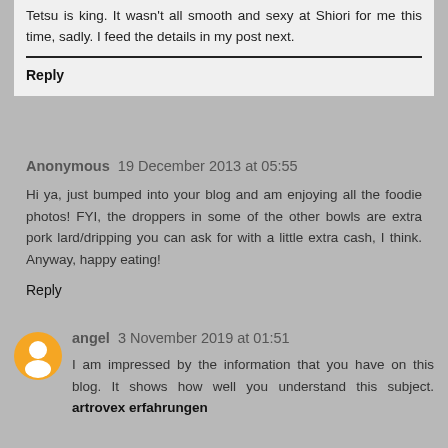Tetsu is king. It wasn't all smooth and sexy at Shiori for me this time, sadly. I feed the details in my post next.
Reply
Anonymous  19 December 2013 at 05:55
Hi ya, just bumped into your blog and am enjoying all the foodie photos! FYI, the droppers in some of the other bowls are extra pork lard/dripping you can ask for with a little extra cash, I think. Anyway, happy eating!
Reply
angel  3 November 2019 at 01:51
I am impressed by the information that you have on this blog. It shows how well you understand this subject. artrovex erfahrungen
Reply